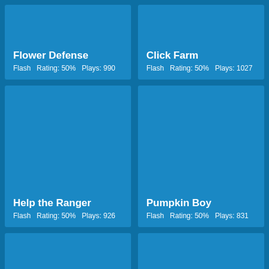[Figure (other): Game card for Flower Defense. Flash game. Rating: 50%. Plays: 990.]
[Figure (other): Game card for Click Farm. Flash game. Rating: 50%. Plays: 1027.]
[Figure (other): Game card for Help the Ranger. Flash game. Rating: 50%. Plays: 926.]
[Figure (other): Game card for Pumpkin Boy. Flash game. Rating: 50%. Plays: 831.]
[Figure (other): Game card for Baby Vegetable Planting. Flash game. Rating: 50%. Plays: 863.]
[Figure (other): Game card for Lawnmower Action. Flash game. Rating: 50%. Plays: 831.]